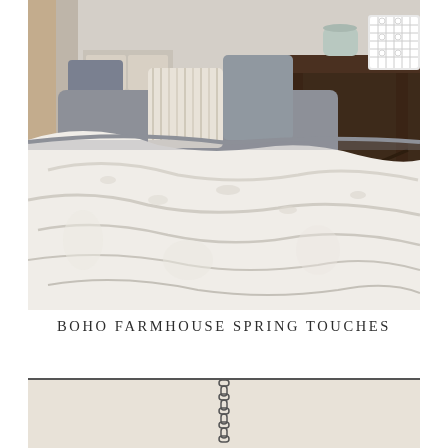[Figure (photo): Interior living room scene with a large fluffy white/cream blanket draped over a gray sofa. Decorative pillows with fringe and texture visible. A dark wood console table is in the background with a white lattice lantern and vase. Wicker basket visible on left side.]
BOHO FARMHOUSE SPRING TOUCHES
[Figure (photo): Bottom portion of an interior room image showing a hanging pendant light with a dark metal chain against a light beige/cream wall.]